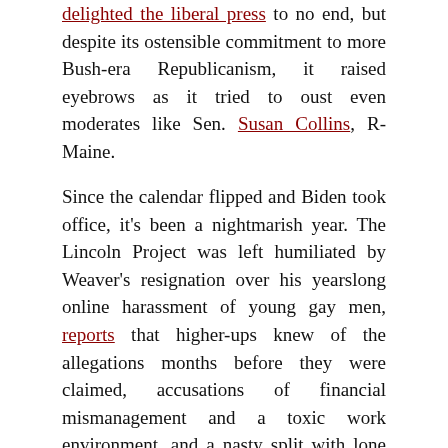delighted the liberal press to no end, but despite its ostensible commitment to more Bush-era Republicanism, it raised eyebrows as it tried to oust even moderates like Sen. Susan Collins, R-Maine.
Since the calendar flipped and Biden took office, it's been a nightmarish year. The Lincoln Project was left humiliated by Weaver's resignation over his yearslong online harassment of young gay men, reports that higher-ups knew of the allegations months before they were claimed, accusations of financial mismanagement and a toxic work environment, and a nasty split with lone female co-founder Jennifer Horn culminating in the publication of her private messages with a reporter.
Then came its thud last month in the Virginia governor's race, when it admitted to orchestrating a widely panned race hoax meant to liken Youngkin supporters to tiki torch-wielding White supremacists. The stunt was blasted across the political spectrum, with the Charlottesville (Va.) City